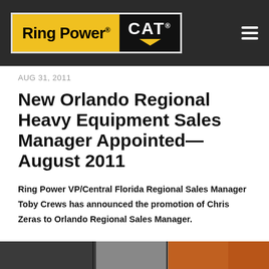[Figure (logo): Ring Power CAT logo — yellow background with 'Ring Power' in black bold text and CAT logo with triangle on dark background]
AUG 31, 2011
New Orlando Regional Heavy Equipment Sales Manager Appointed—August 2011
Ring Power VP/Central Florida Regional Sales Manager Toby Crews has announced the promotion of Chris Zeras to Orlando Regional Sales Manager.
[Figure (photo): Partial photo strip at bottom of page showing people or equipment, partially cut off]